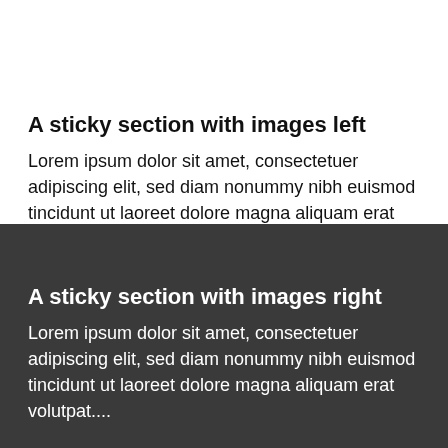A sticky section with images left
Lorem ipsum dolor sit amet, consectetuer adipiscing elit, sed diam nonummy nibh euismod tincidunt ut laoreet dolore magna aliquam erat volutpat....
A sticky section with images right
Lorem ipsum dolor sit amet, consectetuer adipiscing elit, sed diam nonummy nibh euismod tincidunt ut laoreet dolore magna aliquam erat volutpat....